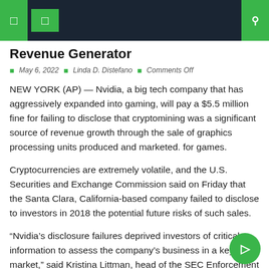Revenue Generator
May 6, 2022  Linda D. Distefano  Comments Off
NEW YORK (AP) — Nvidia, a big tech company that has aggressively expanded into gaming, will pay a $5.5 million fine for failing to disclose that cryptomining was a significant source of revenue growth through the sale of graphics processing units produced and marketed. for games.
Cryptocurrencies are extremely volatile, and the U.S. Securities and Exchange Commission said on Friday that the Santa Clara, California-based company failed to disclose to investors in 2018 the potential future risks of such sales.
“Nvidia’s disclosure failures deprived investors of critical information to assess the company’s business in a key market,” said Kristina Littman, head of the SEC Enforcement